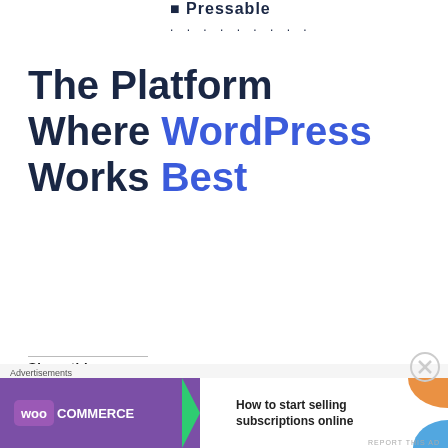Pressable .........
The Platform Where WordPress Works Best
SEE PRICING
REPORT THIS AD
Share this
Share 1
Tweet
Instagram
Share
WhatsApp
Post
Email
Advertisements
[Figure (other): WooCommerce advertisement banner: How to start selling subscriptions online]